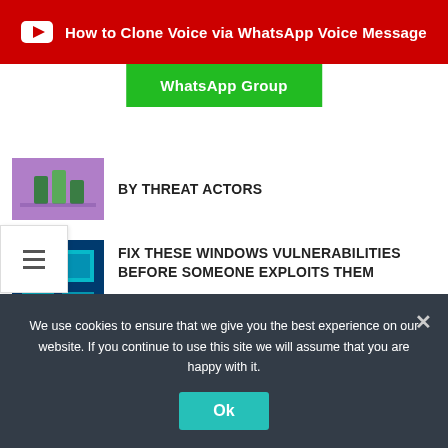[Figure (screenshot): Red YouTube banner with play button icon and text 'How to Clone Voice via WhatsApp Voice Message']
WhatsApp Group
BY THREAT ACTORS
[Figure (screenshot): Hamburger menu icon]
FIX THESE WINDOWS VULNERABILITIES BEFORE SOMEONE EXPLOITS THEM
VIEW ALL
TUTORIALS
HOW TO EASILY SPOOF MAC ADDRESS
We use cookies to ensure that we give you the best experience on our website. If you continue to use this site we will assume that you are happy with it.
Ok